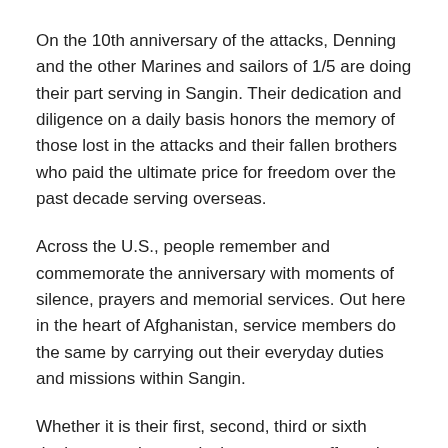On the 10th anniversary of the attacks, Denning and the other Marines and sailors of 1/5 are doing their part serving in Sangin. Their dedication and diligence on a daily basis honors the memory of those lost in the attacks and their fallen brothers who paid the ultimate price for freedom over the past decade serving overseas.
Across the U.S., people remember and commemorate the anniversary with moments of silence, prayers and memorial services. Out here in the heart of Afghanistan, service members do the same by carrying out their everyday duties and missions within Sangin.
Whether it is their first, second, third or sixth deployment, the attacks in some way affected a lot of the men and woman who volunteered to serve in the armed forces during a time of war. For some the decision came as their way of ensuring their homeland was secure.
“I waited all throughout high school and the war was still going, I